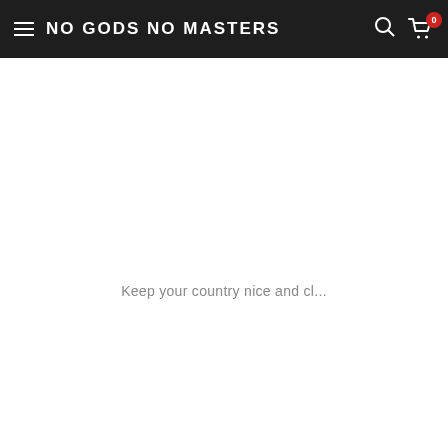NO GODS NO MASTERS
Keep your country nice and cl...